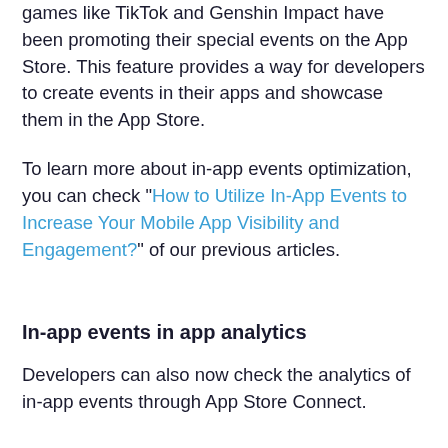games like TikTok and Genshin Impact have been promoting their special events on the App Store. This feature provides a way for developers to create events in their apps and showcase them in the App Store.
To learn more about in-app events optimization, you can check "How to Utilize In-App Events to Increase Your Mobile App Visibility and Engagement?" of our previous articles.
In-app events in app analytics
Developers can also now check the analytics of in-app events through App Store Connect.